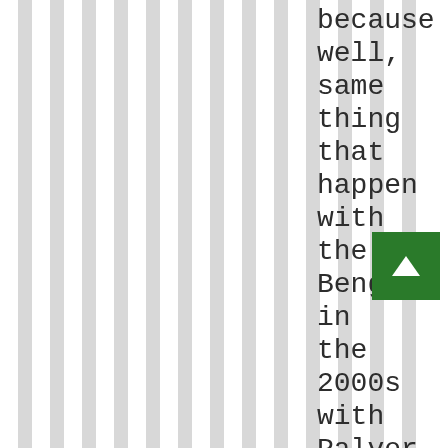because well, same thing that happens with the Bengal in the 2000s with Palver Bu I do th
[Figure (other): Green button with upward chevron arrow (scroll-to-top button)]